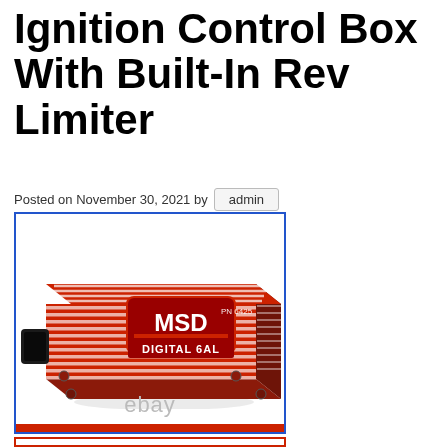Ignition Control Box With Built-In Rev Limiter
Posted on November 30, 2021 by admin
[Figure (photo): MSD Digital 6AL Ignition Control Box (PN 6425), red unit with white stripe fins, black connector on side, shown on white background with ebay watermark]